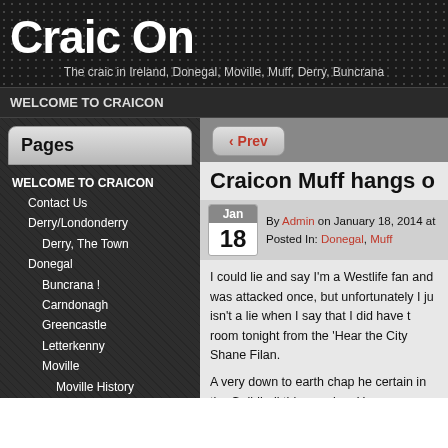Craic On
The craic in Ireland, Donegal, Moville, Muff, Derry, Buncrana
WELCOME TO CRAICON
Pages
WELCOME TO CRAICON
Contact Us
Derry/Londonderry
Derry, The Town
Donegal
Buncrana !
Carndonagh
Greencastle
Letterkenny
Moville
Moville History
Muff
Redcastle
North America
Minneapolis / St Paul
‹ Prev
Craicon Muff hangs o
By Admin on January 18, 2014 at
Posted In: Donegal, Muff
I could lie and say I'm a Westlife fan and was attacked once, but unfortunately I just isn't a lie when I say that I did have room tonight from the 'Hear the City Shane Filan.
A very down to earth chap he certainly in the Guildhall this evening. He eve people, who shall remain anonymous 'selfie' as it just isn't for me! (However June, selfies will be at the fore of the
Shane headlined the first event of D